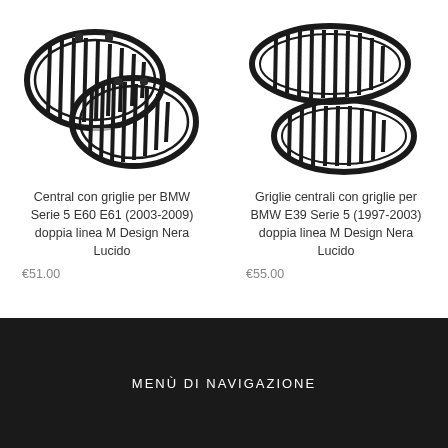[Figure (photo): Two black BMW kidney grilles (double bar M Design) for Serie 5 E60 E61 2003-2009, shown overlapping each other on white background]
Central con griglie per BMW Serie 5 E60 E61 (2003-2009) doppia linea M Design Nera Lucido
€51.00
[Figure (photo): Two black BMW kidney grilles (double bar M Design) for BMW E39 Serie 5 1997-2003, shown side by side staggered on white background]
Griglie centrali con griglie per BMW E39 Serie 5 (1997-2003) doppia linea M Design Nera Lucido
€55.00
MENÙ DI NAVIGAZIONE